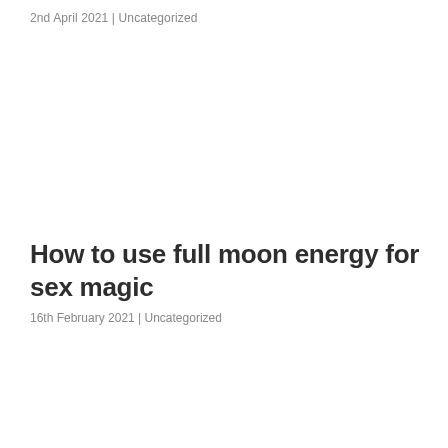2nd April 2021 | Uncategorized
How to use full moon energy for sex magic
16th February 2021 | Uncategorized